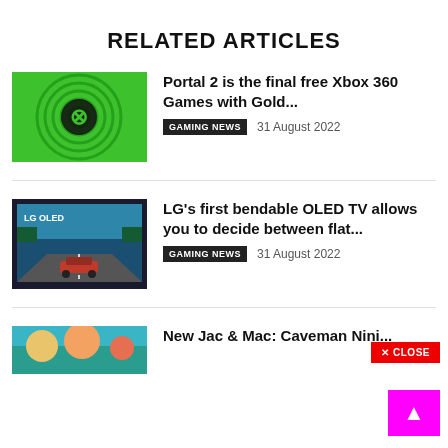RELATED ARTICLES
[Figure (illustration): Green Xbox logo background with concentric circles and Xbox symbol]
Portal 2 is the final free Xbox 360 Games with Gold...
GAMING NEWS   31 August 2022
[Figure (photo): LG OLED TV displaying a racing game with an F1 car]
LG's first bendable OLED TV allows you to decide between flat...
GAMING NEWS   31 August 2022
[Figure (photo): Partially visible thumbnail in teal/blue color for a third article]
New Jac & Mac: Caveman Nini...